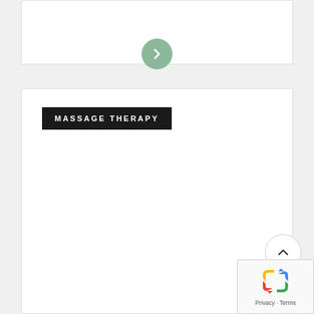[Figure (screenshot): Green circular button with a right-pointing chevron arrow, serving as a navigation next button between two white card sections]
MASSAGE THERAPY
[Figure (screenshot): Circular back-to-top button with an upward-pointing chevron arrow, light gray border on white background]
[Figure (screenshot): Google reCAPTCHA widget showing reCAPTCHA logo/icon with Privacy and Terms links below]